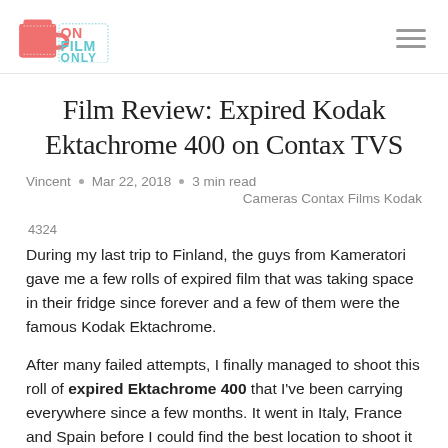ON FILM ONLY
Film Review: Expired Kodak Ektachrome 400 on Contax TVS
Vincent • Mar 22, 2018 • 3 min read
Cameras Contax Films Kodak
4324
During my last trip to Finland, the guys from Kameratori gave me a few rolls of expired film that was taking space in their fridge since forever and a few of them were the famous Kodak Ektachrome.
After many failed attempts, I finally managed to shoot this roll of expired Ektachrome 400 that I've been carrying everywhere since a few months. It went in Italy, France and Spain before I could find the best location to shoot it but